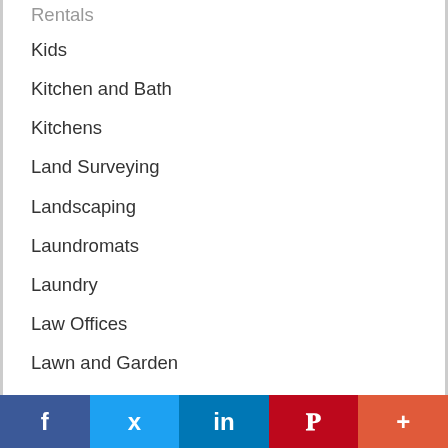Kids
Kitchen and Bath
Kitchens
Land Surveying
Landscaping
Laundromats
Laundry
Law Offices
Lawn and Garden
Lawn and Yard Work
Lawncare
Leaf Removal
Legal